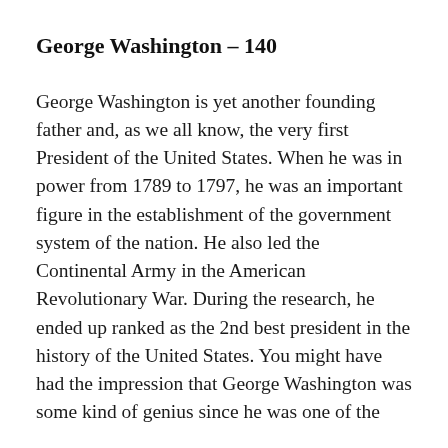George Washington – 140
George Washington is yet another founding father and, as we all know, the very first President of the United States. When he was in power from 1789 to 1797, he was an important figure in the establishment of the government system of the nation. He also led the Continental Army in the American Revolutionary War. During the research, he ended up ranked as the 2nd best president in the history of the United States. You might have had the impression that George Washington was some kind of genius since he was one of the